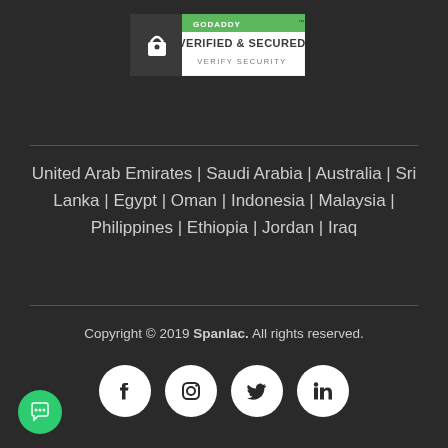[Figure (logo): GoDaddy Verified & Secured badge with lock icon and green header]
United Arab Emirates | Saudi Arabia | Australia | Sri Lanka | Egypt | Oman | Indonesia | Malaysia | Philippines | Ethiopia | Jordan | Iraq
Copyright © 2019 Spanlac. All rights reserved.
[Figure (other): Social media icons: Facebook, Instagram, Twitter, LinkedIn in white circles on dark background]
[Figure (other): Green chat bubble icon in bottom left corner]